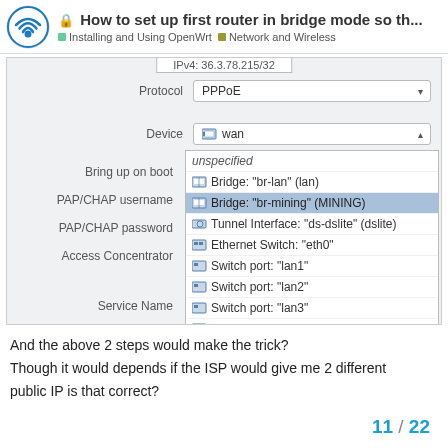How to set up first router in bridge mode so th... | Installing and Using OpenWrt | Network and Wireless
[Figure (screenshot): OpenWrt network interface configuration form showing Protocol set to PPPoE and Device dropdown open with options including unspecified, Bridge: br-lan (lan), Bridge: br-mining (MINING) [highlighted], Tunnel Interface: ds-dslite (dslite), Ethernet Switch: eth0, Switch port: lan1, Switch port: lan2, Switch port: lan3, Switch port: lan4, Tunnel Interface: pppoe-wan (wan), Switch port: wan (wan, wan6) [highlighted], and partially visible Wireless Network Master IoT 2.4GHz (IOT)]
And the above 2 steps would make the trick?
Though it would depends if the ISP would give me 2 different
public IP is that correct?
11 / 22